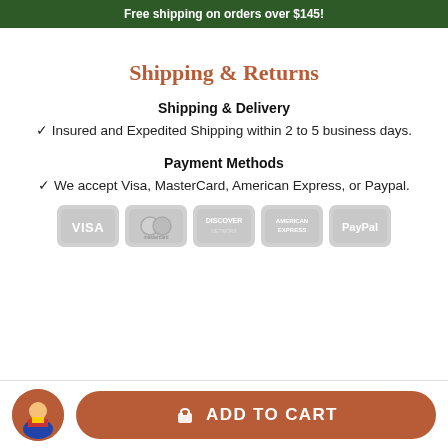Free shipping on orders over $145!
Shipping & Returns
Shipping & Delivery
✓ Insured and Expedited Shipping within 2 to 5 business days.
Payment Methods
✓ We accept Visa, MasterCard, American Express, or Paypal.
[Figure (logo): Payment method logos: VISA, MasterCard, Discover, American Express, PayPal]
ADD TO CART